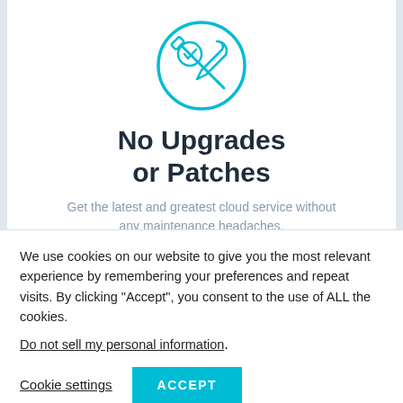[Figure (illustration): A teal/cyan line-art icon showing a wrench and screwdriver crossed over a circle with a checkmark, representing maintenance or upgrades tool]
No Upgrades or Patches
Get the latest and greatest cloud service without any maintenance headaches.
We use cookies on our website to give you the most relevant experience by remembering your preferences and repeat visits. By clicking “Accept”, you consent to the use of ALL the cookies.
Do not sell my personal information.
Cookie settings  ACCEPT